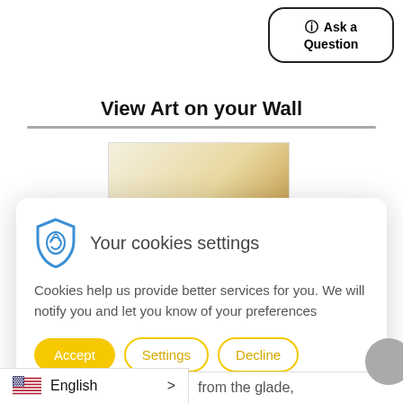[Figure (other): Ask a Question button with question mark icon, rounded rectangle border]
View Art on your Wall
[Figure (photo): Partial view of an artwork with warm yellow/golden tones]
Your cookies settings
Cookies help us provide better services for you. We will notify you and let you know of your preferences
[Figure (other): Accept, Settings, and Decline buttons for cookie consent]
English > from the glade,